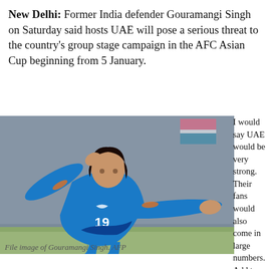New Delhi: Former India defender Gouramangi Singh on Saturday said hosts UAE will pose a serious threat to the country's group stage campaign in the AFC Asian Cup beginning from 5 January.
[Figure (photo): File image of Gouramangi Singh, an Indian football player wearing blue jersey number 19, gesturing on the field.]
File image of Gouramangi Singh. AFP
I would say UAE would be very strong. Their fans would also come in large numbers. Add to that, the team